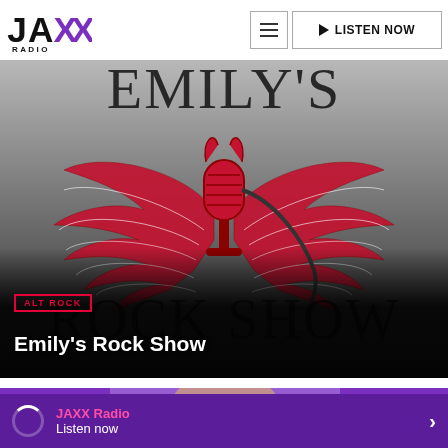[Figure (logo): JAXX Radio logo — black JAX text with purple XX and RADIO subtext]
[Figure (illustration): Emily's Rock Show logo: a vintage red microphone with devil horns and large feathered wings, with text 'Emily's Rock Show' in stylized lettering, on a grey gradient background]
ALT ROCK
Emily's Rock Show
[Figure (photo): Person wearing headphones, partially visible, on purple background — second show card]
JAXX Radio
Listen now